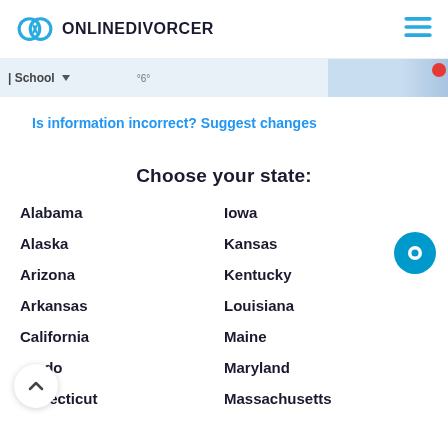ONLINEDIVORCER
[Figure (screenshot): Map strip showing partial Google Maps view with 'School' label and map tiles]
Is information incorrect? Suggest changes
Choose your state:
Alabama
Alaska
Arizona
Arkansas
California
Colorado
Connecticut
Iowa
Kansas
Kentucky
Louisiana
Maine
Maryland
Massachusetts